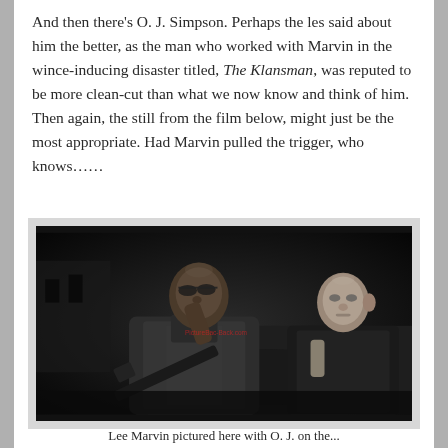And then there's O. J. Simpson. Perhaps the les said about him the better, as the man who worked with Marvin in the wince-inducing disaster titled, The Klansman, was reputed to be more clean-cut than what we now know and think of him. Then again, the still from the film below, might just be the most appropriate. Had Marvin pulled the trigger, who knows…...
[Figure (photo): Black and white still photograph from The Klansman showing two men — one in the foreground holding a rifle/gun aiming upward, the other an older man standing behind him. Nighttime outdoor setting.]
Lee Marvin pictured here with O. J. on the...